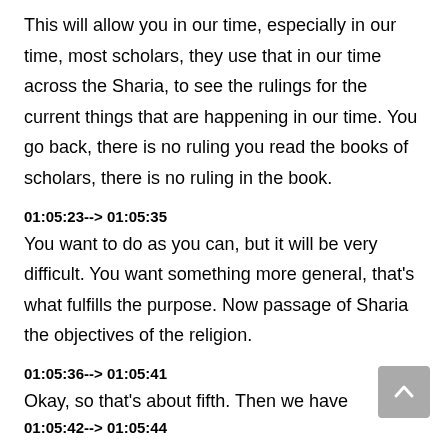This will allow you in our time, especially in our time, most scholars, they use that in our time across the Sharia, to see the rulings for the current things that are happening in our time. You go back, there is no ruling you read the books of scholars, there is no ruling in the book.
01:05:23--> 01:05:35
You want to do as you can, but it will be very difficult. You want something more general, that's what fulfills the purpose. Now passage of Sharia the objectives of the religion.
01:05:36--> 01:05:41
Okay, so that's about fifth. Then we have
[Figure (other): Scroll-to-top button: grey rounded rectangle with upward chevron arrow icon]
01:05:42--> 01:05:44